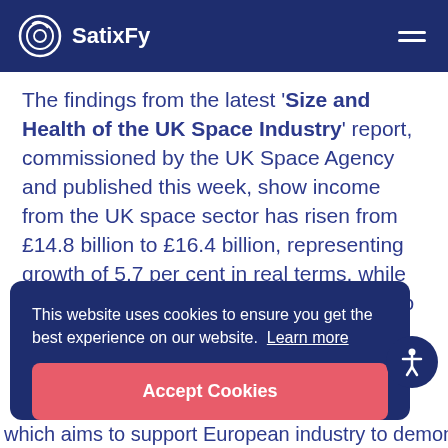SatixFy
The findings from the latest ‘Size and Health of the UK Space Industry’ report, commissioned by the UK Space Agency and published this week, show income from the UK space sector has risen from £14.8 billion to £16.4 billion, representing growth of 5.7 per cent in real terms, while employment is up by 3,200 from 41,900 to 45,100.
This website uses cookies to ensure you get the best experience on our website. Learn more
Accept Cookies
which aims to support European industry to demonstrate